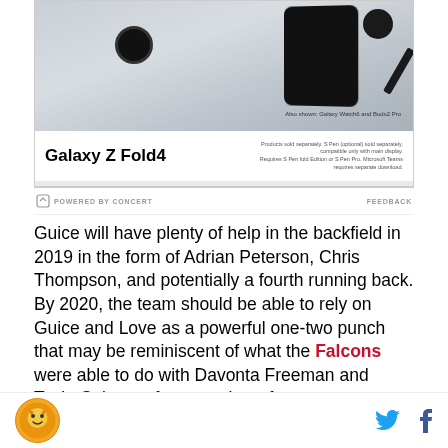[Figure (photo): Samsung Galaxy Z Fold4 advertisement showing the foldable phone open with a map and fitness tracking app displayed, alongside a Galaxy Watch6 and Buds2 Pro on a light gray background]
POWERED BY CONCERT
FEEDBACK
Guice will have plenty of help in the backfield in 2019 in the form of Adrian Peterson, Chris Thompson, and potentially a fourth running back. By 2020, the team should be able to rely on Guice and Love as a powerful one-two punch that may be reminiscent of what the Falcons were able to do with Davonta Freeman and Tevin Coleman for a number of years.
[Figure (photo): Partial view of a crowd of sports fans in stadium bleachers]
[Figure (logo): Site logo - circular emblem with sports mascot]
[Figure (other): Twitter bird icon in cyan blue]
[Figure (other): Facebook f icon in navy blue]